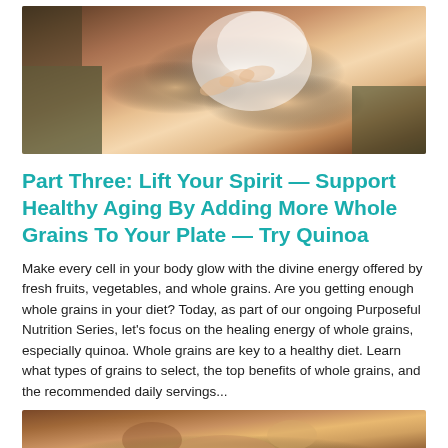[Figure (photo): Close-up photo of a person's hand holding a white cup or bowl, wearing an olive/dark green shirt, warm skin tones]
Part Three: Lift Your Spirit — Support Healthy Aging By Adding More Whole Grains To Your Plate — Try Quinoa
Make every cell in your body glow with the divine energy offered by fresh fruits, vegetables, and whole grains. Are you getting enough whole grains in your diet? Today, as part of our ongoing Purposeful Nutrition Series, let's focus on the healing energy of whole grains, especially quinoa. Whole grains are key to a healthy diet. Learn what types of grains to select, the top benefits of whole grains, and the recommended daily servings...
[Figure (photo): Partial photo at bottom of page, warm earthy tones, cropped — appears to be a continuation of food or nutrition-related imagery]